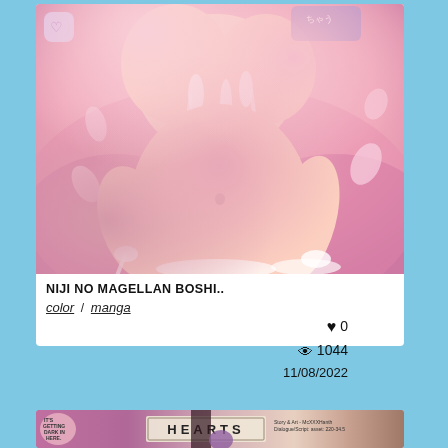[Figure (illustration): Anime/manga style illustration with pink tones]
NIJI NO MAGELLAN BOSHI..
color / manga
♥ 0
👁 1044
11/08/2022
[Figure (illustration): Second manga card showing HEARTS title]